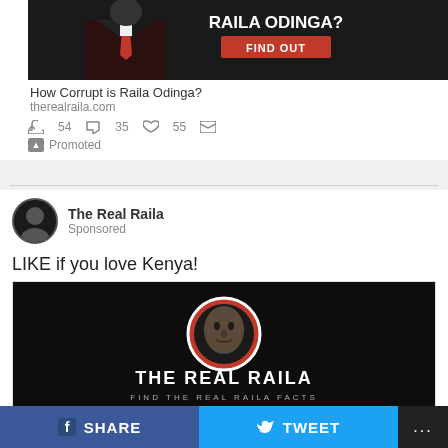[Figure (screenshot): Twitter promoted ad showing 'RAILA ODINGA? FIND OUT' with dark background and man in suit with red tie]
How Corrupt is Raila Odinga?
therealraila.com
54  35  55  Promoted
[Figure (screenshot): Facebook sponsored post avatar - circular photo of person]
The Real Raila
Sponsored
LIKE if you love Kenya!
[Figure (screenshot): The Real Raila Facebook page banner with face in red circle on dark background, text 'THE REAL RAILA - FIND THE REAL RAILA FACTS']
The Real Raila
Community
29,914 likes
f SHARE
TWEET
...